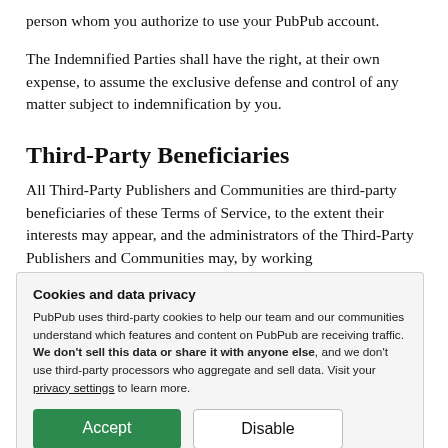person whom you authorize to use your PubPub account.
The Indemnified Parties shall have the right, at their own expense, to assume the exclusive defense and control of any matter subject to indemnification by you.
Third-Party Beneficiaries
All Third-Party Publishers and Communities are third-party beneficiaries of these Terms of Service, to the extent their interests may appear, and the administrators of the Third-Party Publishers and Communities may, by working
Cookies and data privacy
PubPub uses third-party cookies to help our team and our communities understand which features and content on PubPub are receiving traffic. We don't sell this data or share it with anyone else, and we don't use third-party processors who aggregate and sell data. Visit your privacy settings to learn more.
[Accept] [Disable]
Terms of Service, as applicable to their relationship with